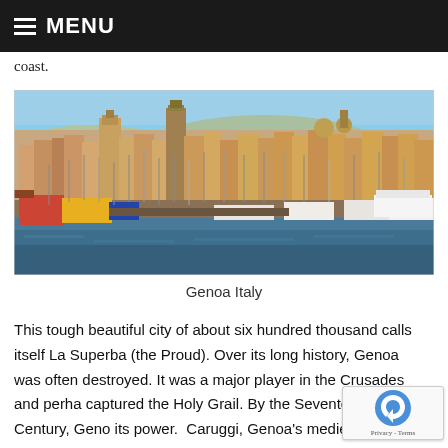MENU
coast.
[Figure (photo): Panoramic view of Genoa Italy harbor with colorful buildings on hillside, boats and ships moored in the foreground water, blue sky above]
Genoa Italy
This tough beautiful city of about six hundred thousand calls itself La Superba (the Proud). Over its long history, Genoa was often destroyed. It was a major player in the Crusades and perha captured the Holy Grail. By the Seventeenth Century, Geno its power.  Caruggi, Genoa's medieval center, is the largest